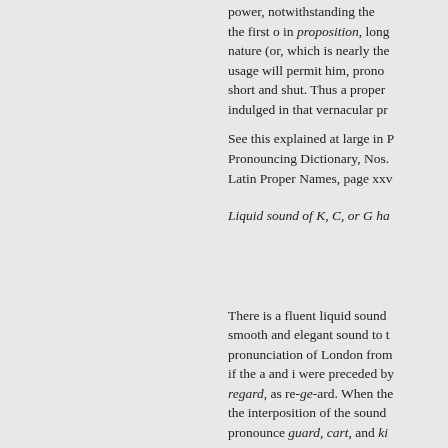power, notwithstanding the first o in proposition, long nature (or, which is nearly the usage will permit him, pronoun short and shut. Thus a proper indulged in that vernacular pr
See this explained at large in Pronouncing Dictionary, Nos. Latin Proper Names, page xxv
Liquid sound of K, C, or G ha
There is a fluent liquid sound smooth and elegant sound to t pronunciation of London from if the a and i were preceded by regard, as re-ge-ard. When the the interposition of the sound pronounce guard, cart, and ki garrison, and kindred in the sa g hard, are but few. Sky, kind, carpet, carve, carbuncle, carn